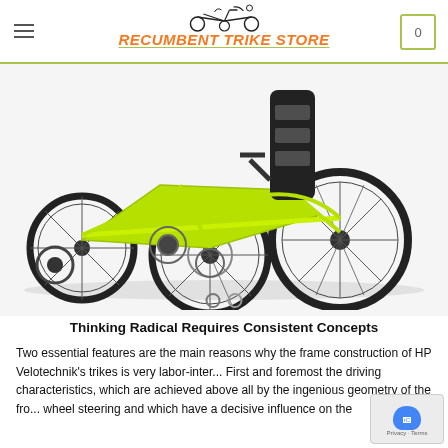RECUMBENT TRIKE STORE
[Figure (photo): A recumbent trike (three-wheeled bicycle) with a neon yellow-green frame, black mesh seat, and three black spoke wheels, photographed against a white background. Slide indicator dots visible at bottom.]
Thinking Radical Requires Consistent Concepts
Two essential features are the main reasons why the frame construction of HP Velotechnik’s trikes is very labor-inter... First and foremost the driving characteristics, which are achieved above all by the ingenious geometry of the fro... wheel steering and which have a decisive influence on the